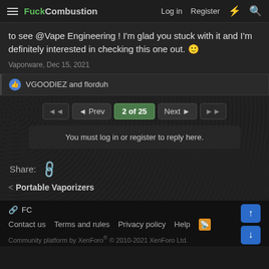FuckCombustion  Log in  Register
to see @Vape Engineering ! I'm glad you stuck with it and I'm definitely interested in checking this one out. 🙂
Vaporware, Dec 15, 2021
👍 VGOODIEZ and florduh
◄◄  ◄ Prev  2 of 25  Next ►  ►►
You must log in or register to reply here.
Share: 🔗
< Portable Vaporizers
🔗 FC   Contact us  Terms and rules  Privacy policy  Help  [RSS]   Community platform by XenForo® © 2010-2021 XenForo Ltd.